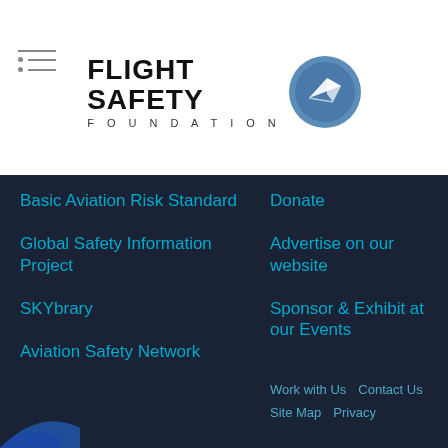[Figure (logo): Flight Safety Foundation logo with circular graphic element and text reading FLIGHT SAFETY FOUNDATION]
Basic Aviation Risk Standard
Global Safety Information Project
SKYbrary
Aviation Safety Network
Donate
Advertise on our website
Sponsor & Exhibit at our Events
Work with Us   Contact Us   Site Map   Privacy